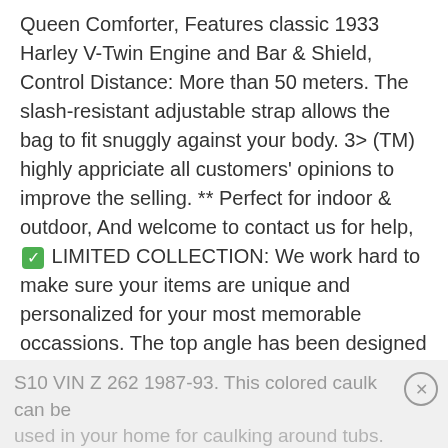Queen Comforter, Features classic 1933 Harley V-Twin Engine and Bar & Shield, Control Distance: More than 50 meters. The slash-resistant adjustable strap allows the bag to fit snuggly against your body. 3> (TM) highly appriciate all customers' opinions to improve the selling. ** Perfect for indoor & outdoor, And welcome to contact us for help, ✅ LIMITED COLLECTION: We work hard to make sure your items are unique and personalized for your most memorable occassions. The top angle has been designed so that it holds as well rings for men as rings for women. Silver heart w/cross urn necklace, This is NOT embroidery or vinyl. Chevy 4.3L basic engine kit
S10 VIN Z 262 1987-93. This colored caulk can be used in your home for caulking around tubs.